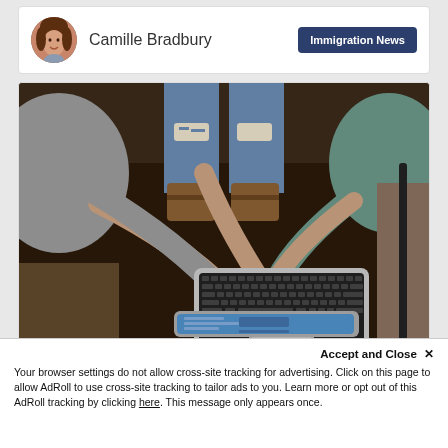Camille Bradbury | Immigration News
[Figure (photo): Overhead view of three people gathered around a laptop on a dark table, each pointing or reaching toward the keyboard and screen. One person wears ripped jeans and boots, another wears a grey sweater, and another wears a teal jacket. A tablet is visible at the bottom of the frame.]
Accept and Close ×
Your browser settings do not allow cross-site tracking for advertising. Click on this page to allow AdRoll to use cross-site tracking to tailor ads to you. Learn more or opt out of this AdRoll tracking by clicking here. This message only appears once.